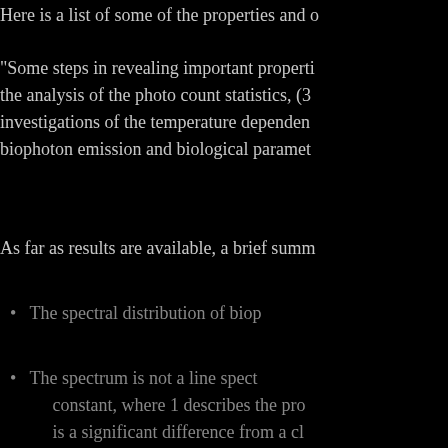Here is a list of some of the properties and o
"Some steps in revealing important properti the analysis of the photo count statistics, (3 investigations of the temperature dependen biophoton emission and biological paramet
As far as results are available, a brief summ
The spectral distribution of biop
The spectrum is not a line spect constant, where 1 describes the pro is a significant difference from a cl distribution, where T is the absolut
The probability of counting 0,1 accurately a Poissonian distribution numbers n during the preset time in
This Poissonian probability dis emission. It holds to time intervals
Instead of following an expone accurately by a "hyperbolic relaxa (including complex) values, while
The temperature dependence fo
It is evident that at least a som